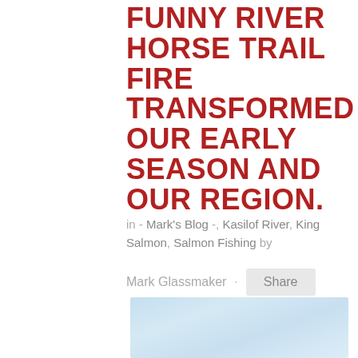FUNNY RIVER HORSE TRAIL FIRE TRANSFORMED OUR EARLY SEASON AND OUR REGION.
in - Mark's Blog -, Kasilof River, King Salmon, Salmon Fishing by
Mark Glassmaker · Share
[Figure (photo): Partial view of a sky with light blue color and wispy clouds, appearing to be a landscape or outdoor scene photo.]